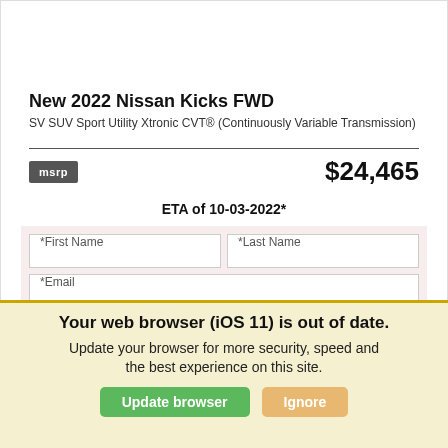New 2022 Nissan Kicks FWD
SV SUV Sport Utility Xtronic CVT® (Continuously Variable Transmission)
msrp  $24,465
ETA of 10-03-2022*
*First Name  *Last Name  *Email  *Phone  Get Our Best Price
Buy Now!
Your web browser (iOS 11) is out of date.
Update your browser for more security, speed and the best experience on this site.
Update browser   Ignore